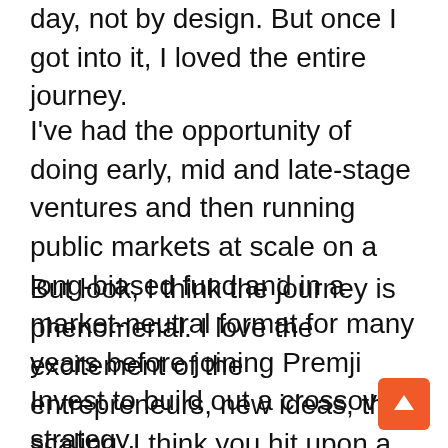day, not by design. But once I got into it, I loved the entire journey.
I've had the opportunity of doing early, mid and late-stage ventures and then running public markets at scale on a long-biased fund and in a market-neutral format for many years before joining Premji Invest to build out a crossover strategy.
But look, I think the journey is phenomenal. I love the excitement of the entrepreneurs, new ideas, the scaling. I think you hit upon a great topic. I mean, people think about getting to become a unicorn, but what after, right? I believe that is the more challenging part. And to me, it's